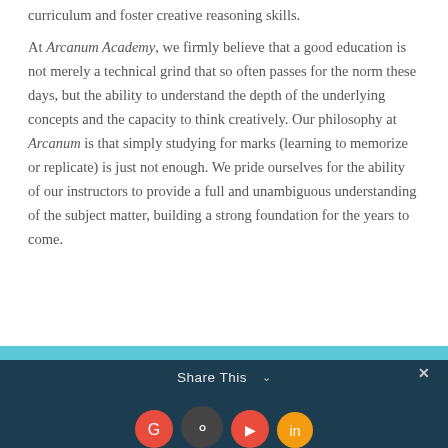curriculum and foster creative reasoning skills.
At Arcanum Academy, we firmly believe that a good education is not merely a technical grind that so often passes for the norm these days, but the ability to understand the depth of the underlying concepts and the capacity to think creatively. Our philosophy at Arcanum is that simply studying for marks (learning to memorize or replicate) is just not enough. We pride ourselves for the ability of our instructors to provide a full and unambiguous understanding of the subject matter, building a strong foundation for the years to come.
Share This ∨  ✕